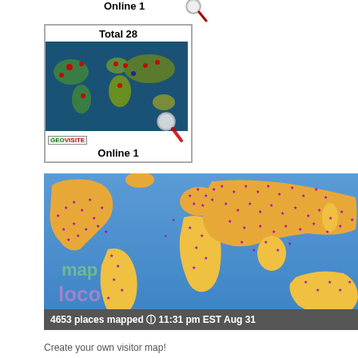Online 1
[Figure (map): Geovisite visitor tracking widget showing world map with red pins indicating visitor locations. Title: Total 28. Shows GEOVISITE badge and Online 1 count.]
[Figure (map): MapLoco visitor map showing world map with orange continents on blue ocean with purple star markers indicating visitor locations. Footer text: 4653 places mapped @ 11:31 pm EST Aug 31]
Create your own visitor map!